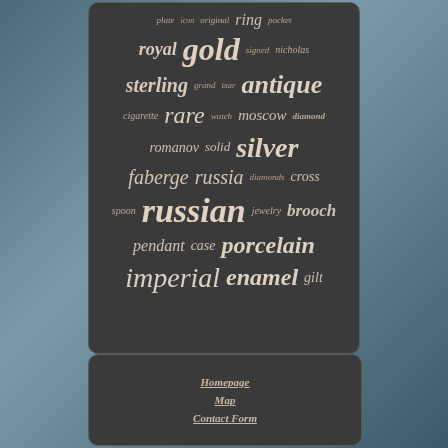[Figure (infographic): Tag cloud of antique Russian collectibles keywords on dark background. Words include: plate, icon, original, ring, pocket, royal, gold, signed, nicholas, sterling, grand, tsar, antique, cigarette, rare, watch, moscow, diamond, romanov, solid, silver, faberge, russia, diamonds, cross, russian, spoon, jewelry, brooch, pendant, case, porcelain, imperial, enamel, gilt]
Homepage
Map
Contact Form